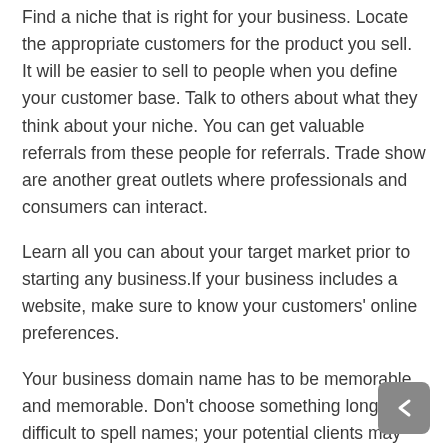Find a niche that is right for your business. Locate the appropriate customers for the product you sell. It will be easier to sell to people when you define your customer base. Talk to others about what they think about your niche. You can get valuable referrals from these people for referrals. Trade show are another great outlets where professionals and consumers can interact.
Learn all you can about your target market prior to starting any business.If your business includes a website, make sure to know your customers' online preferences.
Your business domain name has to be memorable and memorable. Don't choose something long or difficult to spell names; your potential clients may not remember how to get to your site if you do.Short and sweet is generally the trick.